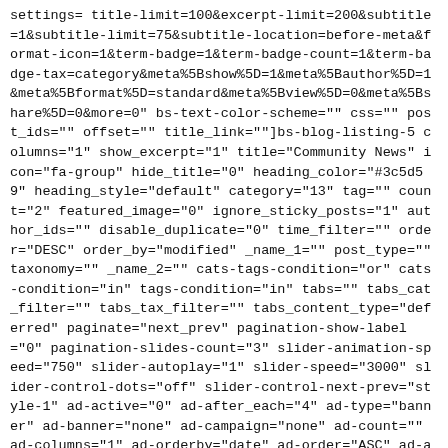settings= title-limit=100&excerpt-limit=200&subtitle=1&subtitle-limit=75&subtitle-location=before-meta&format-icon=1&term-badge=1&term-badge-count=1&term-badge-tax=category&meta%5Bshow%5D=1&meta%5Bauthor%5D=1&meta%5Bformat%5D=standard&meta%5Bview%5D=0&meta%5Bshare%5D=0&more=0" bs-text-color-scheme="" css="" post_ids="" offset="" title_link=""]bs-blog-listing-5 columns="1" show_excerpt="1" title="Community News" icon="fa-group" hide_title="0" heading_color="#3c5d59" heading_style="default" category="13" tag="" count="2" featured_image="0" ignore_sticky_posts="1" author_ids="" disable_duplicate="0" time_filter="" order="DESC" order_by="modified" _name_1="" post_type="" taxonomy="" _name_2="" cats-tags-condition="or" cats-condition="in" tags-condition="in" tabs="" tabs_cat_filter="" tabs_tax_filter="" tabs_content_type="deferred" paginate="next_prev" pagination-show-label="0" pagination-slides-count="3" slider-animation-speed="750" slider-autoplay="1" slider-speed="3000" slider-control-dots="off" slider-control-next-prev="style-1" ad-active="0" ad-after_each="4" ad-type="banner" ad-banner="none" ad-campaign="none" ad-count="" ad-columns="1" ad-orderby="date" ad-order="ASC" ad-align="center" bs-show-desktop="1" bs-show